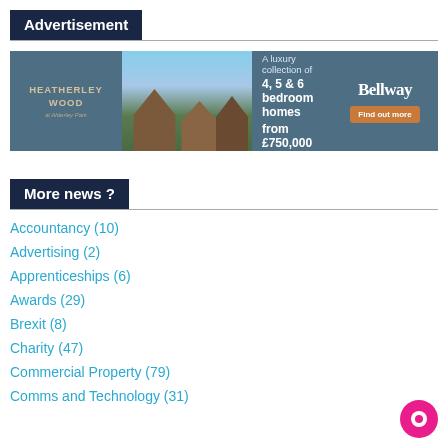Advertisement
[Figure (infographic): Bellway Heatherley Wood advertisement banner. Shows a photo of luxury houses, text reading 'A luxury collection of 4, 5 & 6 bedroom homes from £750,000' and Bellway logo with 'Find out more' button.]
More news ?
Accountancy (10)
Advertising (2)
Apprenticeships (6)
Awards (29)
Brexit (8)
Charity (47)
Commercial Property (79)
Comms and Technology (31)